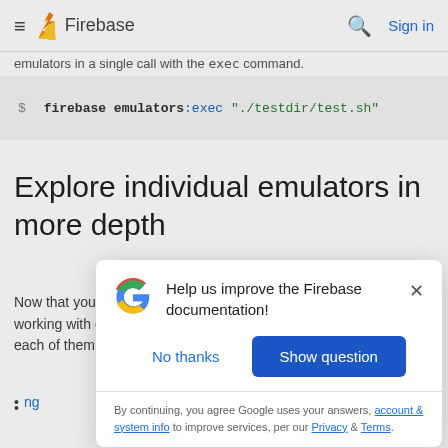Firebase — Sign in
emulators in a single call with the `exec` command.
$ firebase emulators:exec "./testdir/test.sh"
Explore individual emulators in more depth
Now that you know how to run all emulators in one call, look into working with emulators individually. There are detailed docs for each of them.
ng
[Figure (screenshot): Google feedback modal dialog: 'Help us improve the Firebase documentation!' with 'No thanks' and 'Show question' buttons, and footer text about Google account and system info, Privacy and Terms links.]